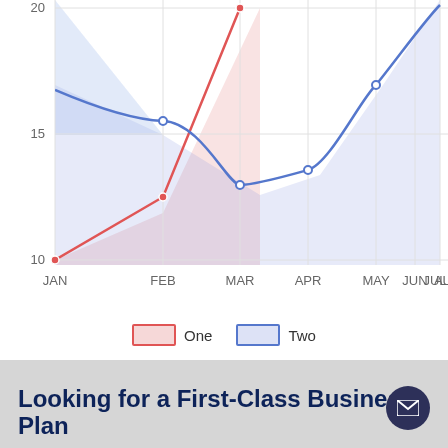[Figure (line-chart): ]
Looking for a First-Class Business Plan